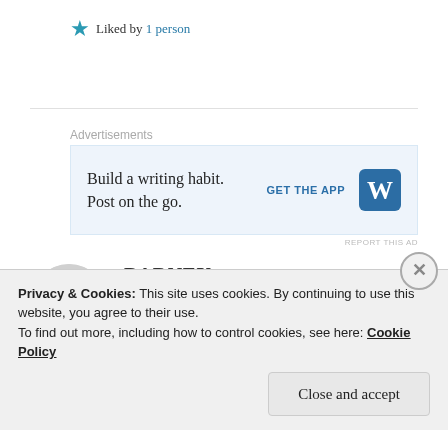★ Liked by 1 person
Advertisements
[Figure (screenshot): WordPress app advertisement: 'Build a writing habit. Post on the go.' with GET THE APP button and WordPress logo]
REPORT THIS AD
BARNEY
14 May 2019 at 9:46 am
Privacy & Cookies: This site uses cookies. By continuing to use this website, you agree to their use.
To find out more, including how to control cookies, see here: Cookie Policy
Close and accept